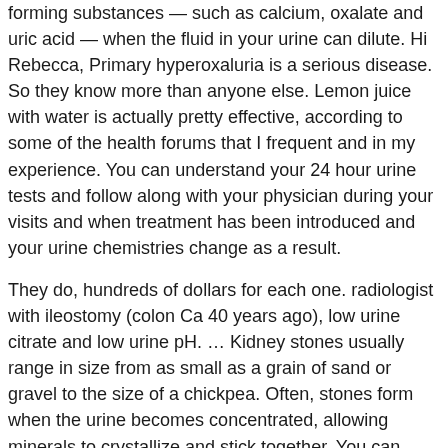forming substances — such as calcium, oxalate and uric acid — when the fluid in your urine can dilute. Hi Rebecca, Primary hyperoxaluria is a serious disease. So they know more than anyone else. Lemon juice with water is actually pretty effective, according to some of the health forums that I frequent and in my experience. You can understand your 24 hour urine tests and follow along with your physician during your visits and when treatment has been introduced and your urine chemistries change as a result.
They do, hundreds of dollars for each one. radiologist with ileostomy (colon Ca 40 years ago), low urine citrate and low urine pH. … Kidney stones usually range in size from as small as a grain of sand or gravel to the size of a chickpea. Often, stones form when the urine becomes concentrated, allowing minerals to crystallize and stick together. You can actually have a kidney stone for years without knowing it's there. Thanks very much, Fred. Reasons for this include: In other cases, an underlying disease causes the crystals to form into